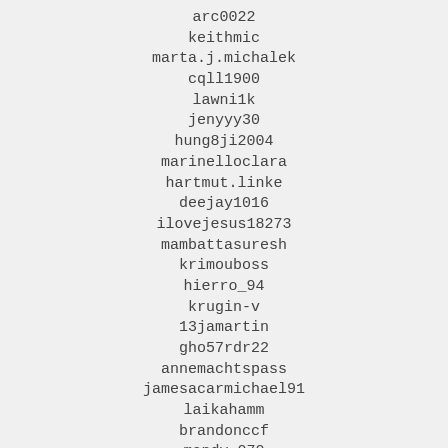arc0022
keithmic
marta.j.michalek
cqll1900
lawni1k
jenyyy30
hung8ji2004
marinelloclara
hartmut.linke
deejay1016
ilovejesus18273
mambattasuresh
krimouboss
hierro_94
krugin-v
13jamartin
gho57rdr22
annemachtspass
jamesacarmichael91
laikahamm
brandonccf
mandy_070
deepakpadhiar
gscthl